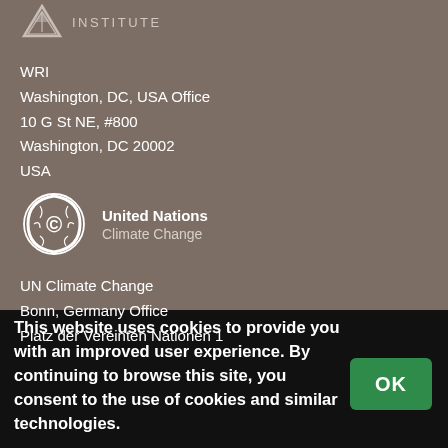[Figure (logo): WRI Institute logo with decorative icon and INSTITUTE text]
WRI
Washington, DC, USA Office
10 G St NE, #800
Washington, DC 20002
USA
[Figure (logo): United Nations Climate Change logo with circular leaf emblem]
UN Climate Change
Bonn, Germany Office
Platz der Vereinten Nationen 1
This website uses cookies to provide you with an improved user experience. By continuing to browse this site, you consent to the use of cookies and similar technologies.